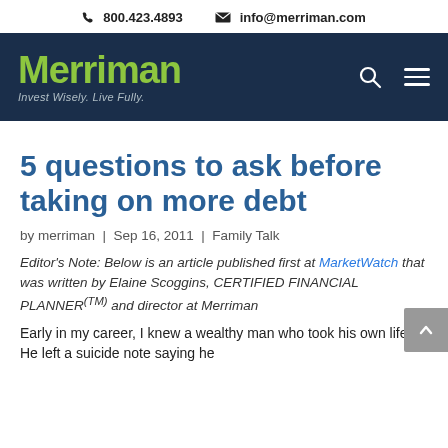800.423.4893   info@merriman.com
[Figure (logo): Merriman logo with tagline 'Invest Wisely. Live Fully.' on dark navy background with search and menu icons]
5 questions to ask before taking on more debt
by merriman | Sep 16, 2011 | Family Talk
Editor's Note: Below is an article published first at MarketWatch that was written by Elaine Scoggins, CERTIFIED FINANCIAL PLANNER(TM) and director at Merriman
Early in my career, I knew a wealthy man who took his own life. He left a suicide note saying he